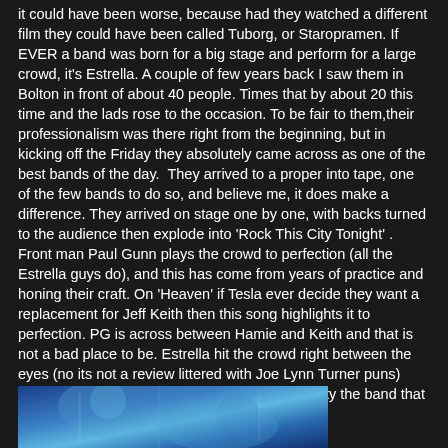it could have been worse, because had they watched a different film they could have been called Tuborg, or Staropramen. If EVER a band was born for a big stage and perform for a large crowd, it's Estrella. A couple of few years back I saw them in Bolton in front of about 40 people. Times that by about 20 this time and the lads rose to the occasion. To be fair to them, their professionalism was there right from the beginning, but in kicking off the Friday they absolutely came across as one of the best bands of the day.  They arrived to a proper into tape, one of the few bands to do so, and believe me, it does make a difference. They arrived on stage one by one, with backs turned to the audience then explode into 'Rock This City Tonight' . Front man Paul Gunn plays the crowd to perfection (all the Estrella guys do), and this has come from years of practice and honing their craft. On 'Heaven' if Tesla ever decide they want a replacement for Jeff Keith then this song highlights it to perfection. PG is across between Hamie and Keith and that is not a bad place to be. Estrella hit the crowd right between the eyes (no its not a review littered with Joe Lynn Turner puns) especially with the anthemic 'Whatever It Is'. I pity the band that has to follow Estrella…..
[Figure (photo): Partial view of a blue-toned concert or band photo at the bottom of the page]